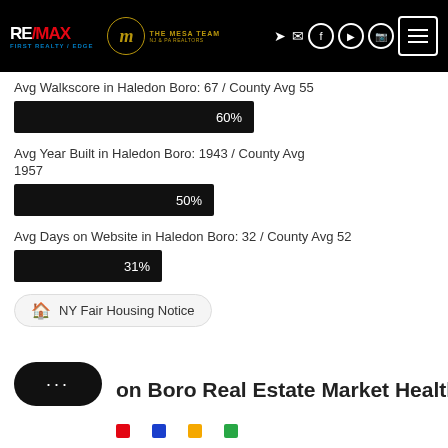[Figure (logo): RE/MAX First Realty Edge and The Mesa Team logos with navigation icons on black header bar]
Avg Walkscore in Haledon Boro: 67 / County Avg 55
[Figure (bar-chart): Avg Walkscore]
Avg Year Built in Haledon Boro: 1943 / County Avg 1957
[Figure (bar-chart): Avg Year Built]
Avg Days on Website in Haledon Boro: 32 / County Avg 52
[Figure (bar-chart): Avg Days on Website]
NY Fair Housing Notice
on Boro Real Estate Market Health